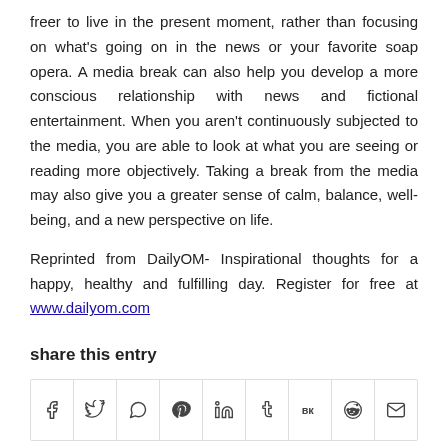freer to live in the present moment, rather than focusing on what's going on in the news or your favorite soap opera. A media break can also help you develop a more conscious relationship with news and fictional entertainment. When you aren't continuously subjected to the media, you are able to look at what you are seeing or reading more objectively. Taking a break from the media may also give you a greater sense of calm, balance, well-being, and a new perspective on life.
Reprinted from DailyOM- Inspirational thoughts for a happy, healthy and fulfilling day. Register for free at www.dailyom.com
share this entry
[Figure (other): Row of social share icon buttons: Facebook, Twitter, WhatsApp, Pinterest, LinkedIn, Tumblr, VK, Reddit, Email]